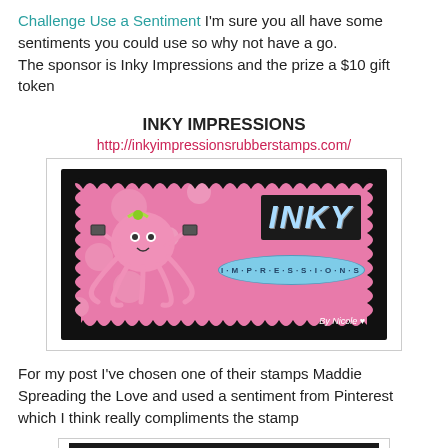Challenge Use a Sentiment I'm sure you all have some sentiments you could use so why not have a go.
The sponsor is Inky Impressions and the prize a $10 gift token
INKY IMPRESSIONS
http://inkyimpressionsrubberstamps.com/
[Figure (logo): Inky Impressions rubber stamps logo featuring a pink octopus character with the word INKY in large striped letters on a dark background and an oval reading impressions below, all on a pink background with scalloped border]
For my post I've chosen one of their stamps Maddie Spreading the Love and used a sentiment from Pinterest which I think really compliments the stamp
[Figure (photo): Partial view of a stamped card image, dark background with light decorative border, partially cut off at bottom of page]